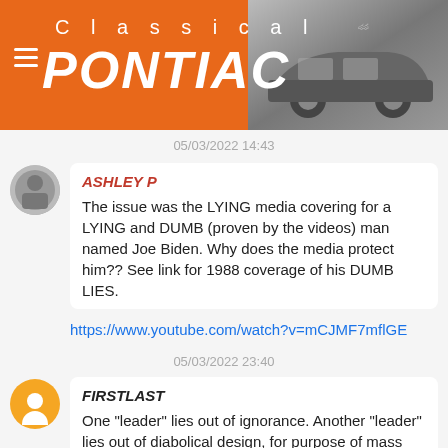[Figure (screenshot): Classical Pontiac website header with orange banner showing 'Classical PONTIAC' text in white, hamburger menu icon, and black-and-white photo of classic Pontiac car on the right]
05/03/2022 14:43
ASHLEY P
The issue was the LYING media covering for a LYING and DUMB (proven by the videos) man named Joe Biden. Why does the media protect him?? See link for 1988 coverage of his DUMB LIES.
https://www.youtube.com/watch?v=mCJMF7mflGE
05/03/2022 23:40
FIRSTLAST
One "leader" lies out of ignorance. Another "leader" lies out of diabolical design, for purpose of mass deception. One of those two is of the devil.